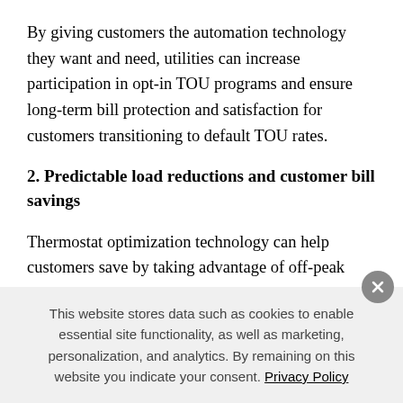By giving customers the automation technology they want and need, utilities can increase participation in opt-in TOU programs and ensure long-term bill protection and satisfaction for customers transitioning to default TOU rates.
2. Predictable load reductions and customer bill savings
Thermostat optimization technology can help customers save by taking advantage of off-peak rates. For example,
This website stores data such as cookies to enable essential site functionality, as well as marketing, personalization, and analytics. By remaining on this website you indicate your consent. Privacy Policy